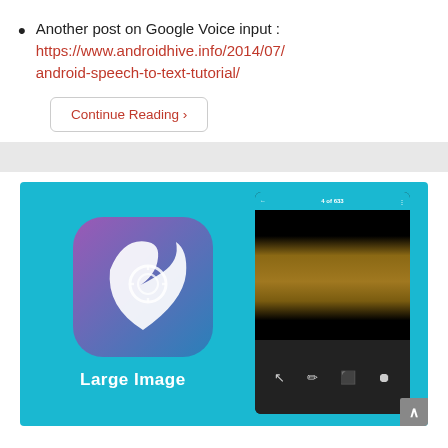Another post on Google Voice input : https://www.androidhive.info/2014/07/android-speech-to-text-tutorial/
Continue Reading ›
[Figure (screenshot): App screenshot showing a camera/photo app icon with 'Large Image' label on cyan background, alongside a smartphone screenshot showing a gallery view with image count '4 of 633']